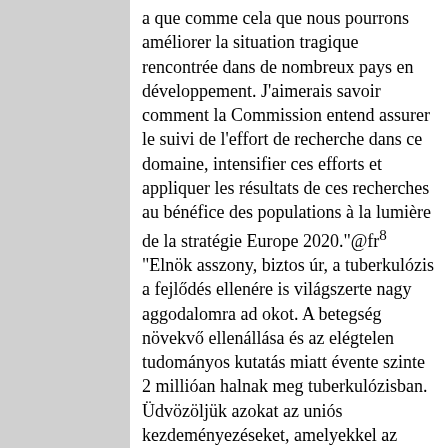a que comme cela que nous pourrons améliorer la situation tragique rencontrée dans de nombreux pays en développement. J'aimerais savoir comment la Commission entend assurer le suivi de l'effort de recherche dans ce domaine, intensifier ces efforts et appliquer les résultats de ces recherches au bénéfice des populations à la lumière de la stratégie Europe 2020."@fr⁸ "Elnök asszony, biztos úr, a tuberkulózis a fejlődés ellenére is világszerte nagy aggodalomra ad okot. A betegség növekvő ellenállása és az elégtelen tudományos kutatás miatt évente szinte 2 millióan halnak meg tuberkulózisban. Üdvözöljük azokat az uniós kezdeményezéseket, amelyekkel az állásfoglalás a tuberkulózissal szemben fel akar lépni, azonban